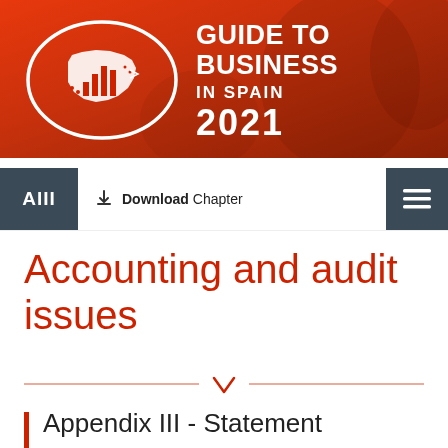[Figure (logo): Guide to Business in Spain 2021 header banner with red/orange gradient background, white oval logo with Spain map silhouette and bar chart icon, bold white text 'GUIDE TO BUSINESS IN SPAIN 2021']
AIII  Download Chapter  ≡
Accounting and audit issues
Appendix III - Statement